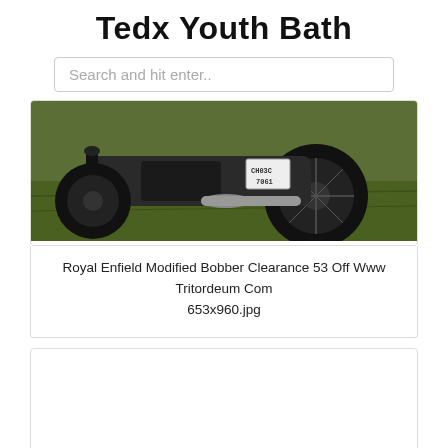Tedx Youth Bath
Search and hit enter..
[Figure (photo): Photograph of a Royal Enfield modified bobber motorcycle on grass, showing the rear wheel and exhaust, with a license plate reading CH03C 7061]
Royal Enfield Modified Bobber Clearance 53 Off Www Tritordeum Com
653x960.jpg
[Figure (photo): Empty white card/placeholder area for a second image]